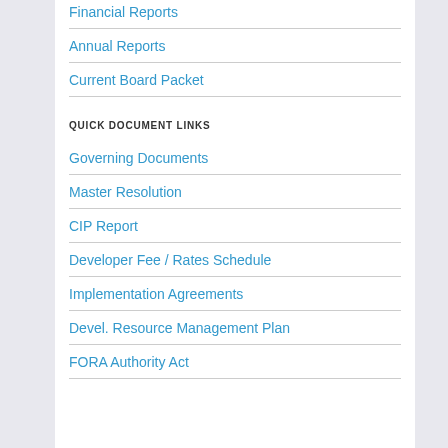Financial Reports
Annual Reports
Current Board Packet
QUICK DOCUMENT LINKS
Governing Documents
Master Resolution
CIP Report
Developer Fee / Rates Schedule
Implementation Agreements
Devel. Resource Management Plan
FORA Authority Act